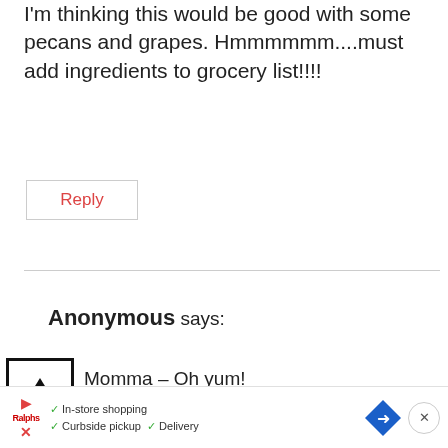I'm thinking this would be good with some pecans and grapes. Hmmmmmm....must add ingredients to grocery list!!!!
Reply
Anonymous says:
Momma – Oh yum!
Reply
[Figure (infographic): Advertisement bar with play icon, store logo, checkmarks for In-store shopping, Curbside pickup, Delivery, navigation diamond icon, and close button]